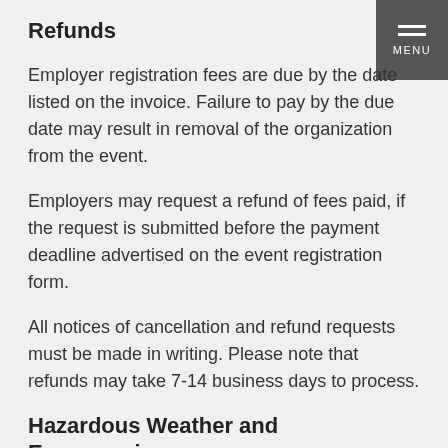Refunds
Employer registration fees are due by the date listed on the invoice. Failure to pay by the due date may result in removal of the organization from the event.
Employers may request a refund of fees paid, if the request is submitted before the payment deadline advertised on the event registration form.
All notices of cancellation and refund requests must be made in writing. Please note that refunds may take 7-14 business days to process.
Hazardous Weather and Emergencies
In the event of hazardous or inclement weather, Alumni & Student Connections will not host events if Pacific